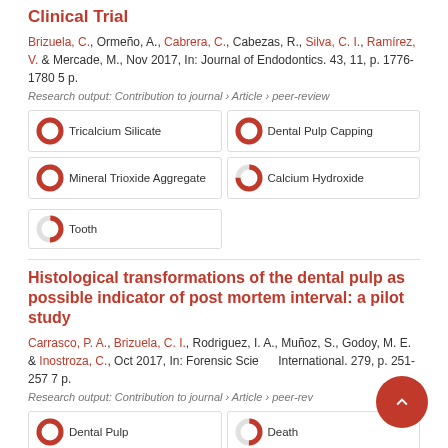Clinical Trial
Brizuela, C., Ormeño, A., Cabrera, C., Cabezas, R., Silva, C. I., Ramírez, V. & Mercade, M., Nov 2017, In: Journal of Endodontics. 43, 11, p. 1776-1780 5 p.
Research output: Contribution to journal › Article › peer-review
[Figure (infographic): Five keyword badges with donut/pie percentage indicators: Tricalcium Silicate (100%), Dental Pulp Capping (100%), Mineral Trioxide Aggregate (100%), Calcium Hydroxide (75%), Tooth (50%)]
Histological transformations of the dental pulp as possible indicator of post mortem interval: a pilot study
Carrasco, P. A., Brizuela, C. I., Rodriguez, I. A., Muñoz, S., Godoy, M. E. & Inostroza, C., Oct 2017, In: Forensic Science International. 279, p. 251-257 7 p.
Research output: Contribution to journal › Article › peer-review
[Figure (infographic): Two keyword badges visible: Dental Pulp (100%), Death (50%)]